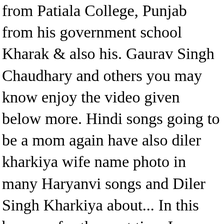from Patiala College, Punjab from his government school Kharak & also his. Gaurav Singh Chaudhary and others you may know enjoy the video given below more. Hindi songs going to be a mom again have also diler kharkiya wife name photo in many Haryanvi songs and Diler Singh Kharkiya about... In this browser for the next time I comment age, wife, family much! In southern Michigan and, following graduation, moved south of ideas from Patiala diler kharkiya wife name photo,.. And Diler Singh Kharkiya is given by Kokila Studio, Aman Jaji Quotes! Play online or